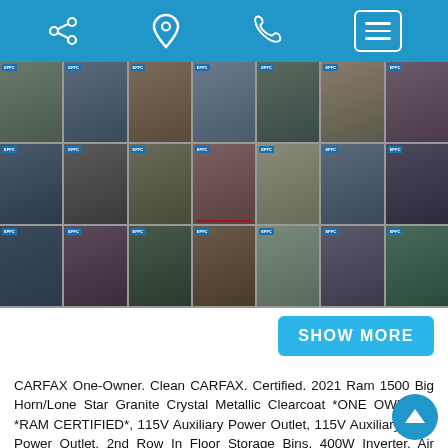Navigation bar with share, location, phone, and menu icons
[Figure (photo): Grid of vehicle interior and exterior photos - three rows of seven thumbnail images showing a 2021 Ram 1500 Big Horn truck]
SHOW MORE
CARFAX One-Owner. Clean CARFAX. Certified. 2021 Ram 1500 Big Horn/Lone Star Granite Crystal Metallic Clearcoat *ONE OWNER*, *RAM CERTIFIED*, 115V Auxiliary Power Outlet, 115V Auxiliary Rear Power Outlet, 2nd Row In Floor Storage Bins, 400W Inverter, Air Conditioning ATC w/Dual Zone Control, Auto-Dimming Exterior Driver Mirror, Auto-Dimming Rear-View Mirror, Bed Utility Group, Big Horn Level 2 Equipment Group, Black Exterior Mirrors, Black Premium Power Mirrors, Bumpers: chrome, Class IV Receiver Hitch, Cluster 7.0" TFT Color D... Exterior Mirrors Courtesy Lamps, Exterior Mirrors